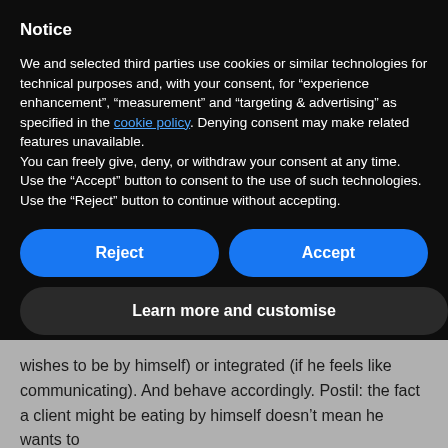Notice
We and selected third parties use cookies or similar technologies for technical purposes and, with your consent, for “experience enhancement”, “measurement” and “targeting & advertising” as specified in the cookie policy. Denying consent may make related features unavailable.
You can freely give, deny, or withdraw your consent at any time. Use the “Accept” button to consent to the use of such technologies. Use the “Reject” button to continue without accepting.
Reject
Accept
Learn more and customise
wishes to be by himself) or integrated (if he feels like communicating). And behave accordingly. Postil: the fact a client might be eating by himself doesn’t mean he wants to